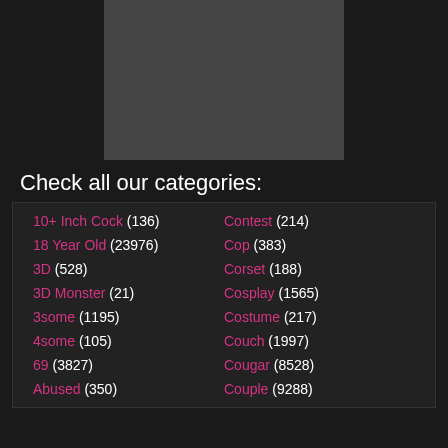[Figure (photo): Photo placeholder at top of page]
Check all our categories:
10+ Inch Cock (136)
Contest (214)
18 Year Old (23976)
Cop (383)
3D (528)
Corset (188)
3D Monster (21)
Cosplay (1565)
3some (1195)
Costume (217)
4some (105)
Couch (1997)
69 (3827)
Cougar (8528)
Abused (350)
Couple (9288)